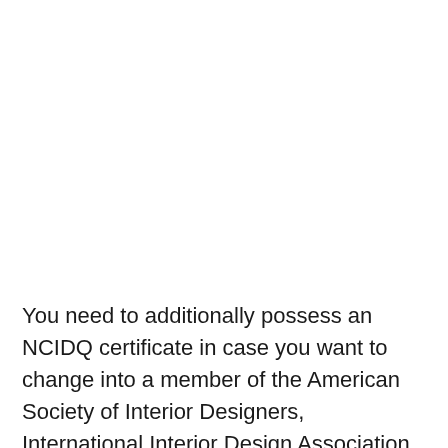You need to additionally possess an NCIDQ certificate in case you want to change into a member of the American Society of Interior Designers, International Interior Design Association, and other related organizations. The NCIDQ has outlined six various routes that may be discovered on their site. Flowers additionally introduce a nice touch of